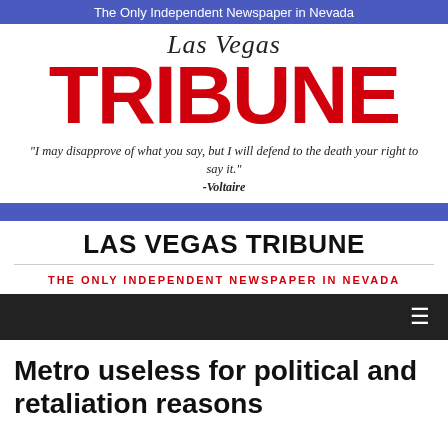The Only Independent Newspaper in Nevada
[Figure (logo): Las Vegas Tribune newspaper masthead logo with script 'Las Vegas' text above large bold red 'TRIBUNE' text]
"I may disapprove of what you say, but I will defend to the death your right to say it." -Voltaire
LAS VEGAS TRIBUNE
THE ONLY INDEPENDENT NEWSPAPER IN NEVADA
Metro useless for political and retaliation reasons